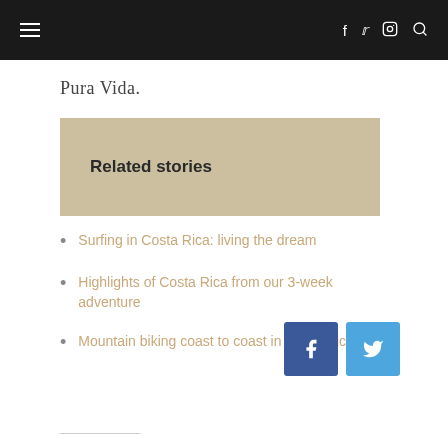Navigation bar with hamburger menu, f, twitter, instagram icons and search
Pura Vida.
Related stories
Surfing in Costa Rica: living the dream
Highlights of Costa Rica from our 3-week adventure
Mountain biking coast to coast in Costa Rica
[Figure (other): Social share buttons: Facebook (blue square with f) and Twitter (light blue square with bird icon)]